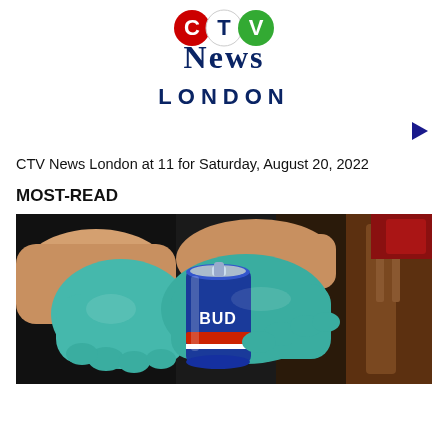[Figure (logo): CTV News London logo with CTV icon in red/green and 'News London' text in dark navy blue]
[Figure (other): Small right-pointing blue triangle play button icon]
CTV News London at 11 for Saturday, August 20, 2022
MOST-READ
[Figure (photo): Person wearing teal/cyan latex gloves handling a blue Budweiser beer can, dark background, partial view of a wooden chair at right]